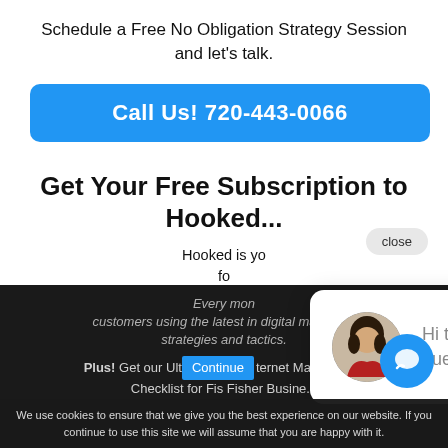Schedule a Free No Obligation Strategy Session and let's talk.
Call Us! 720-443-0066
Get Your Free Subscription to Hooked...
close
Hooked is yo... fo...
Every mon... customers using the latest in digital marketing strategies and tactics.
Plus! Get our Ult... ternet Marketing ... Checklist for Fis Fisher Busine...
Hi there, have a question? Text us here.
We use cookies to ensure that we give you the best experience on our website. If you continue to use this site we will assume that you are happy with it.
Continue